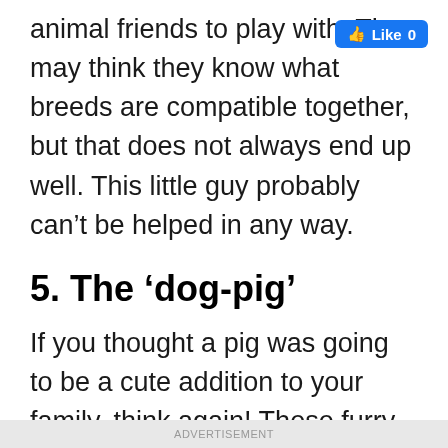[Figure (screenshot): Facebook Like button showing thumbs up icon and count 0]
animal friends to play with. They may think they know what breeds are compatible together, but that does not always end up well. This little guy probably can't be helped in any way.
5. The ‘dog-pig’
If you thought a pig was going to be a cute addition to your family, think again! These furry little guys are not exactly the best when it comes to being pets. In fact,
ADVERTISEMENT